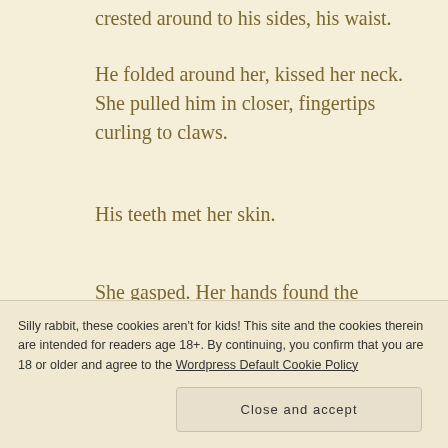crested around to his sides, his waist.
He folded around her, kissed her neck. She pulled him in closer, fingertips curling to claws.
His teeth met her skin.
She gasped. Her hands found the firmness in his trousers.
Silly rabbit, these cookies aren't for kids! This site and the cookies therein are intended for readers age 18+. By continuing, you confirm that you are 18 or older and agree to the Wordpress Default Cookie Policy